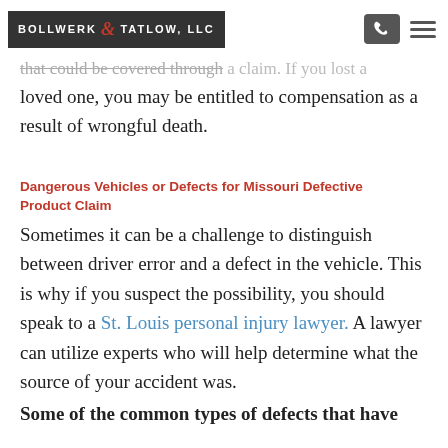BOLLWERK & TATLOW, LLC
a long road of recovery and mounting medical bills that could be covered through a claim. If you lost a loved one, you may be entitled to compensation as a result of wrongful death.
Dangerous Vehicles or Defects for Missouri Defective Product Claim
Sometimes it can be a challenge to distinguish between driver error and a defect in the vehicle. This is why if you suspect the possibility, you should speak to a St. Louis personal injury lawyer. A lawyer can utilize experts who will help determine what the source of your accident was.
Some of the common types of defects that have